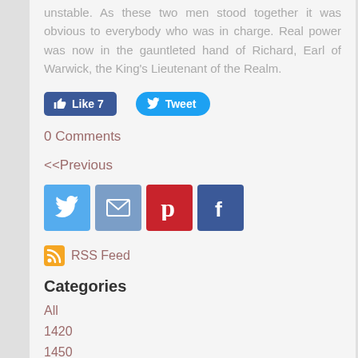unstable. As these two men stood together it was obvious to everybody who was in charge. Real power was now in the gauntleted hand of Richard, Earl of Warwick, the King's Lieutenant of the Realm.
[Figure (screenshot): Social sharing buttons: Like 7 (Facebook) and Tweet (Twitter)]
0 Comments
<<Previous
[Figure (screenshot): Four social share icons: Twitter (blue bird), Email (envelope), Pinterest (red P), Facebook (dark blue f)]
[Figure (logo): RSS Feed icon and link]
Categories
All
1420
1450
1461